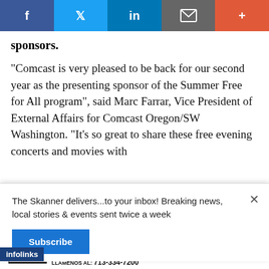[Figure (other): Social media sharing bar with Facebook, Twitter, LinkedIn, email, and plus buttons]
sponsors.
“Comcast is very pleased to be back for our second year as the presenting sponsor of the Summer Free for All program”, said Marc Farrar, Vice President of External Affairs for Comcast Oregon/SW Washington. “It’s so great to share these free evening concerts and movies with
The Skanner delivers...to your inbox! Breaking news, local stories & events sent twice a week
Subscribe
infolinks
[Figure (advertisement): Macy's KISS BORING GOODBYE advertisement with SHOP NOW button]
[Figure (advertisement): Abogada Valentina Oronsaye legal services advertisement with phone number 713-334-7200]